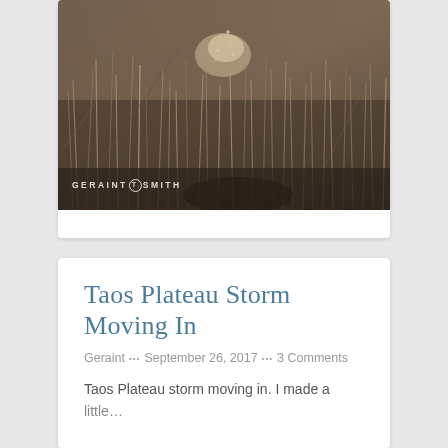[Figure (photo): Sepia-toned photograph of wild grasses and dried vegetation on the Taos Plateau, with a watermark reading 'GERAINT SMITH' with a circular logo.]
Taos Plateau Storm Moving In
Geraint ••• September 26, 2017 ••• 3 Comments
Taos Plateau storm moving in. I made a little…